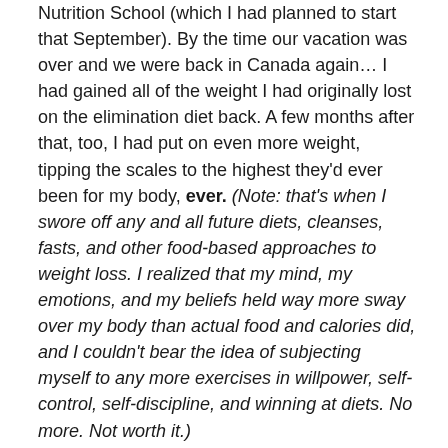Nutrition School (which I had planned to start that September). By the time our vacation was over and we were back in Canada again… I had gained all of the weight I had originally lost on the elimination diet back. A few months after that, too, I had put on even more weight, tipping the scales to the highest they'd ever been for my body, ever. (Note: that's when I swore off any and all future diets, cleanses, fasts, and other food-based approaches to weight loss. I realized that my mind, my emotions, and my beliefs held way more sway over my body than actual food and calories did, and I couldn't bear the idea of subjecting myself to any more exercises in willpower, self-control, self-discipline, and winning at diets. No more. Not worth it.)

Anyway. Overall, the last time I lost weight was characterized by: